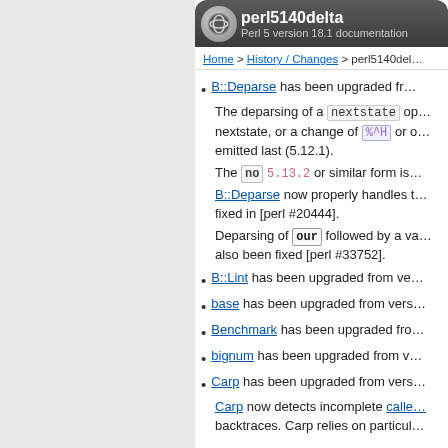perl5140delta — Perl 5 version 18.1 documentation
Home > History / Changes > perl5140del…
B::Deparse has been upgraded fr…
The deparsing of a nextstate op… nextstate, or a change of %^H or o… emitted last (5.12.1).
The no 5.13.2 or similar form is…
B::Deparse now properly handles … fixed in [perl #20444].
Deparsing of our followed by a va… also been fixed [perl #33752].
B::Lint has been upgraded from ve…
base has been upgraded from vers…
Benchmark has been upgraded fro…
bignum has been upgraded from v…
Carp has been upgraded from vers…
Carp now detects incomplete calle… backtraces. Carp relies on particul…